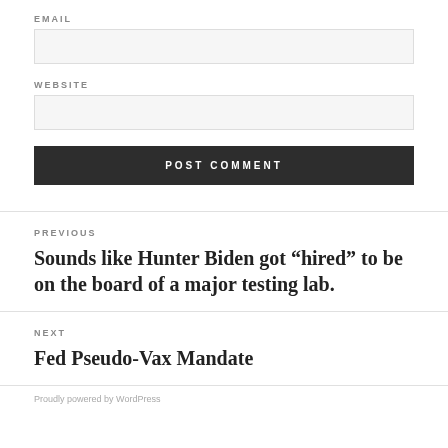EMAIL
WEBSITE
POST COMMENT
PREVIOUS
Sounds like Hunter Biden got “hired” to be on the board of a major testing lab.
NEXT
Fed Pseudo-Vax Mandate
Proudly powered by WordPress